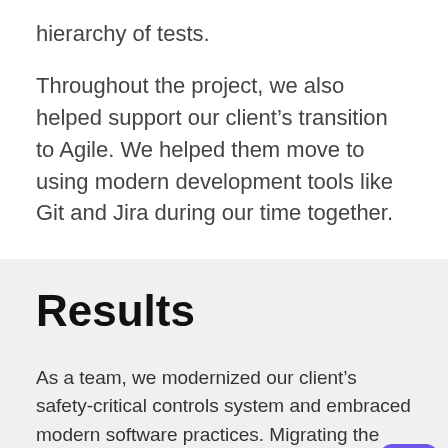hierarchy of tests.
Throughout the project, we also helped support our client's transition to Agile. We helped them move to using modern development tools like Git and Jira during our time together.
Results
As a team, we modernized our client's safety-critical controls system and embraced modern software practices. Migrating the software out of the old proprietary framework also left our